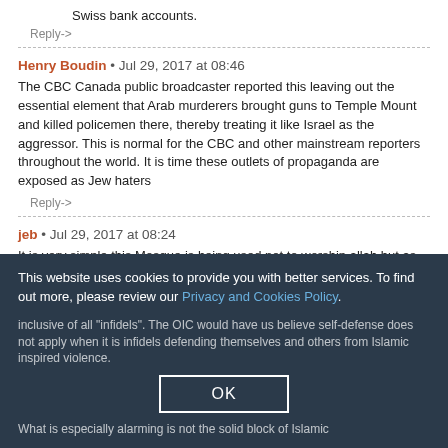Swiss bank accounts.
Reply->
Henry Boudin • Jul 29, 2017 at 08:46
The CBC Canada public broadcaster reported this leaving out the essential element that Arab murderers brought guns to Temple Mount and killed policemen there, thereby treating it like Israel as the aggressor. This is normal for the CBC and other mainstream reporters throughout the world. It is time these outlets of propaganda are exposed as Jew haters
Reply->
jeb • Jul 29, 2017 at 08:24
It is very simple this Mosque is being used not to worship allah but as an expression of bigotry. It isn't about respecting...
This website uses cookies to provide you with better services. To find out more, please review our Privacy and Cookies Policy.
OK